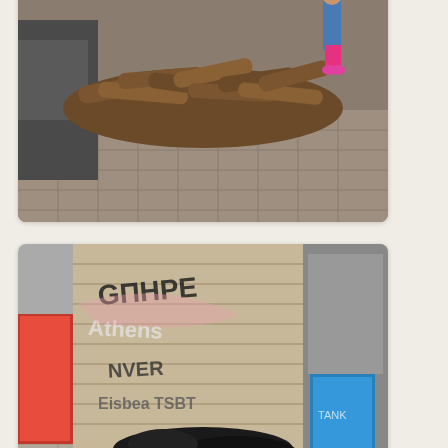[Figure (photo): Photo of a pile of firewood logs on a sidewalk next to a vehicle, with a person visible in the background on a city street.]
[Figure (photo): Photo of a homeless person lying on the ground in front of a graffiti-covered shopfront shutter on a city sidewalk, with urban street scene in background.]
One of the symptom or perhaps better put, a victim of the economic crisis in Greece is air quality, especially in large cities such as Athens  and Thessaloniki as people switch from using heating oil and electricity to burning wood in order to heat their homes.